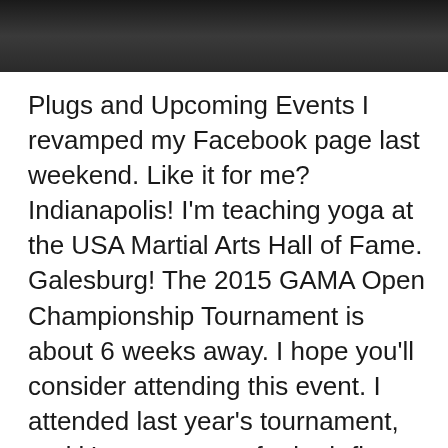[Figure (photo): Dark photo strip at top of page showing partial view of people, dimly lit scene]
Plugs and Upcoming Events I revamped my Facebook page last weekend. Like it for me? Indianapolis! I'm teaching yoga at the USA Martial Arts Hall of Fame. Galesburg! The 2015 GAMA Open Championship Tournament is about 6 weeks away. I hope you'll consider attending this event. I attended last year's tournament, and it's a great one for both first-time competitors and… Continue reading